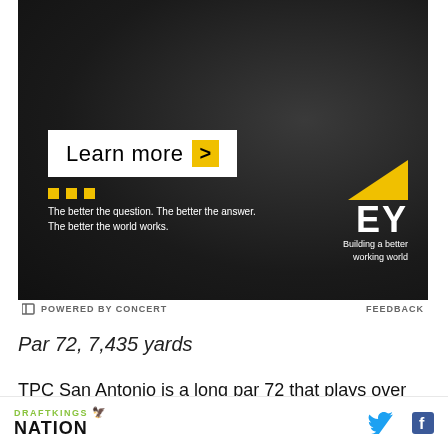[Figure (illustration): EY (Ernst & Young) advertisement banner with dark background, 'Learn more >' button, three yellow dots, tagline text, and EY logo with yellow triangle]
POWERED BY CONCERT    FEEDBACK
Par 72, 7,435 yards
TPC San Antonio is a long par 72 that plays over 7400 yards but is often ranked as one of the tougher par
[Figure (logo): DraftKings Nation logo in green and black, with Twitter and Facebook social icons]